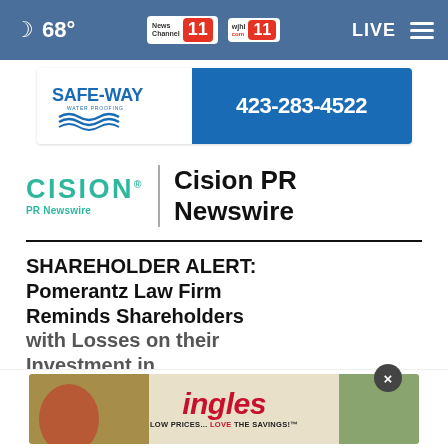68° News Channel 11 wjhl 11 LIVE
[Figure (logo): Safe-Way Water Proofing advertisement banner with phone number 423-283-4522]
[Figure (logo): Cision PR Newswire logo with teal CISION text and PR Newswire subtitle, followed by vertical divider]
Cision PR Newswire
SHAREHOLDER ALERT: Pomerantz Law Firm Reminds Shareholders with Losses on their Inve... Therapeutics, Inc. or
[Figure (photo): Ingles supermarket advertisement overlay showing produce and the Ingles logo with tagline LOW PRICES... LOVE THE SAVINGS!]